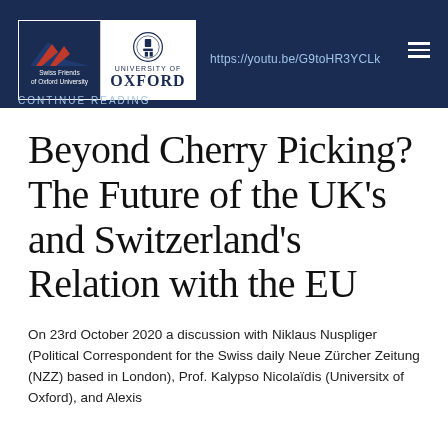below
[Figure (logo): Swiss Friends of Oxford University logo and University of Oxford logo side by side on a dark navy navigation bar]
https://youtu.be/G9toHR3YCLk
CONTINUE READING
Beyond Cherry Picking? The Future of the UK's and Switzerland's Relation with the EU
On 23rd October 2020 a discussion with Niklaus Nuspliger (Political Correspondent for the Swiss daily Neue Zürcher Zeitung (NZZ) based in London), Prof. Kalypso Nicolaïdis (Universitx of Oxford), and Alexis